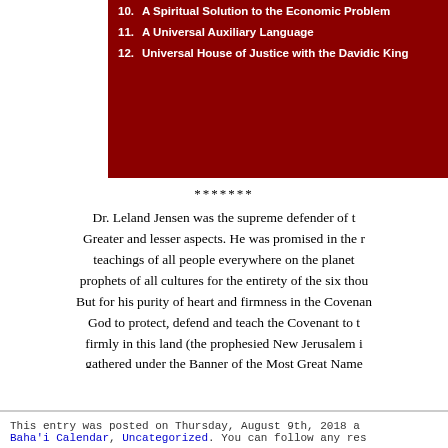[Figure (other): Red sidebar with list items 10-12: 10. A Spiritual Solution to the Economic Problem, 11. A Universal Auxiliary Language, 12. Universal House of Justice with the Davidic King]
*******
Dr. Leland Jensen was the supreme defender of the Greater and lesser aspects. He was promised in the teachings of all people everywhere on the planet prophets of all cultures for the entirety of the six thousand But for his purity of heart and firmness in the Covenant God to protect, defend and teach the Covenant to firmly in this land (the prophesied New Jerusalem gathered under the Banner of the Most Great Name the spiritual wilderness not knowing where to find Thank God for sending His Son to the world a second unto the presence of Baha'u'llah under the Provisionary Covenant!
Allah'u'Abha!
*******
This entry was posted on Thursday, August 9th, 2018 a Baha'i Calendar, Uncategorized. You can follow any res